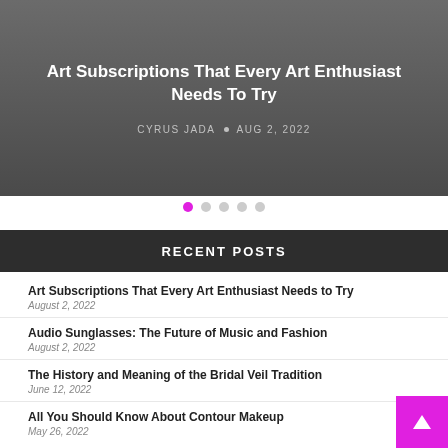Art Subscriptions That Every Art Enthusiast Needs To Try
CYRUS JADA • AUG 2, 2022
[Figure (other): Carousel navigation dots, first dot active (magenta), four inactive grey dots]
RECENT POSTS
Art Subscriptions That Every Art Enthusiast Needs to Try
August 2, 2022
Audio Sunglasses: The Future of Music and Fashion
August 2, 2022
The History and Meaning of the Bridal Veil Tradition
June 12, 2022
All You Should Know About Contour Makeup
May 26, 2022